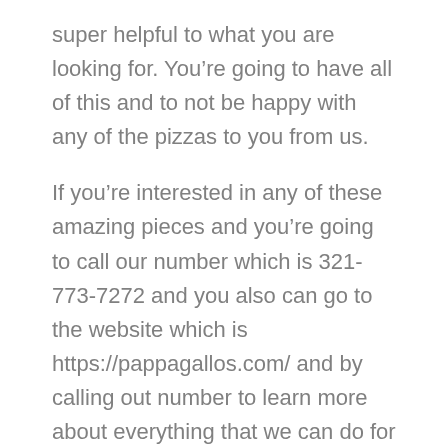super helpful to what you are looking for. You're going to have all of this and to not be happy with any of the pizzas to you from us.
If you're interested in any of these amazing pieces and you're going to call our number which is 321-773-7272 and you also can go to the website which is https://pappagallos.com/ and by calling out number to learn more about everything that we can do for you here and you're going to amazing pizzas that are going to be at the highest quality.